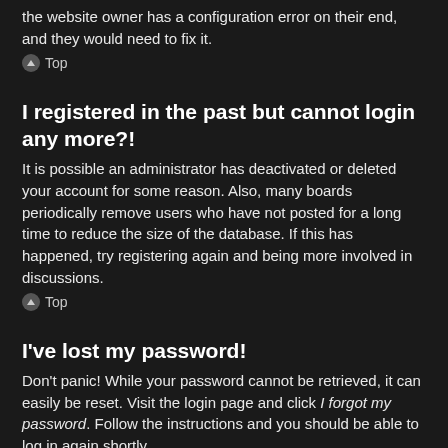the website owner has a configuration error on their end, and they would need to fix it.
⌃ Top
I registered in the past but cannot login any more?!
It is possible an administrator has deactivated or deleted your account for some reason. Also, many boards periodically remove users who have not posted for a long time to reduce the size of the database. If this has happened, try registering again and being more involved in discussions.
⌃ Top
I've lost my password!
Don't panic! While your password cannot be retrieved, it can easily be reset. Visit the login page and click I forgot my password. Follow the instructions and you should be able to log in again shortly. However, if you are not able to reset your password, contact a board administrator.
⌃ Top
Why do I get logged off automatically?